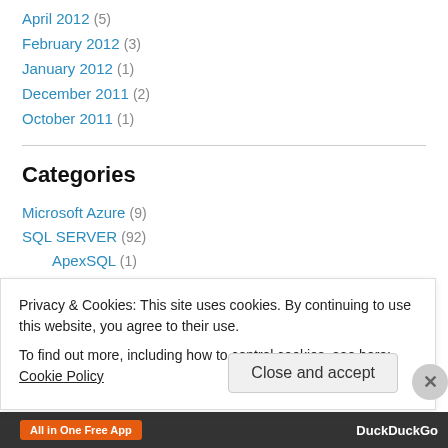April 2012 (5)
February 2012 (3)
January 2012 (1)
December 2011 (2)
October 2011 (1)
Categories
Microsoft Azure (9)
SQL SERVER (92)
ApexSQL (1)
Backup & Restore (1)
Change Data Capture (4)
Privacy & Cookies: This site uses cookies. By continuing to use this website, you agree to their use.
To find out more, including how to control cookies, see here: Cookie Policy
Close and accept